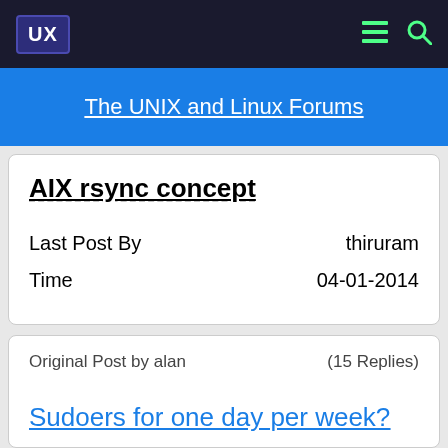UX | The UNIX and Linux Forums
AIX rsync concept
Last Post By    thiruram
Time    04-01-2014
Original Post by alan    (15 Replies)
Sudoers for one day per week?